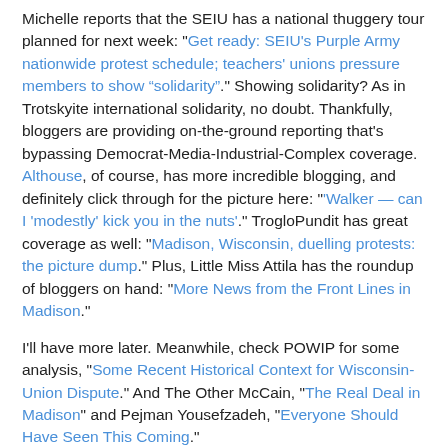Michelle reports that the SEIU has a national thuggery tour planned for next week: "Get ready: SEIU's Purple Army nationwide protest schedule; teachers' unions pressure members to show “solidarity”." Showing solidarity? As in Trotskyite international solidarity, no doubt. Thankfully, bloggers are providing on-the-ground reporting that's bypassing Democrat-Media-Industrial-Complex coverage. Althouse, of course, has more incredible blogging, and definitely click through for the picture here: "'Walker — can I 'modestly' kick you in the nuts'." TrogloPundit has great coverage as well: "Madison, Wisconsin, duelling protests: the picture dump." Plus, Little Miss Attila has the roundup of bloggers on hand: "More News from the Front Lines in Madison."
I'll have more later. Meanwhile, check POWIP for some analysis, "Some Recent Historical Context for Wisconsin-Union Dispute." And The Other McCain, "The Real Deal in Madison" and Pejman Yousefzadeh, "Everyone Should Have Seen This Coming."
UPDATES at MEMEORANDUM as well.